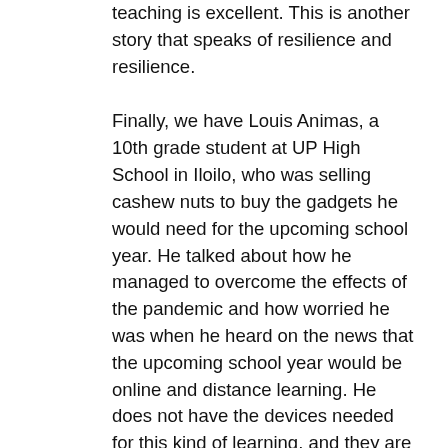teaching is excellent. This is another story that speaks of resilience and resilience.
Finally, we have Louis Animas, a 10th grade student at UP High School in Iloilo, who was selling cashew nuts to buy the gadgets he would need for the upcoming school year. He talked about how he managed to overcome the effects of the pandemic and how worried he was when he heard on the news that the upcoming school year would be online and distance learning. He does not have the devices needed for this kind of learning, and they are also not financially stable. Instead of thinking of it as a problem, he thinks of it as a challenge.
He said he needed to be optimistic and productive, and then finally decided to sell cashew nuts with two goals in mind: first, to raise funds to buy tools for the upcoming online